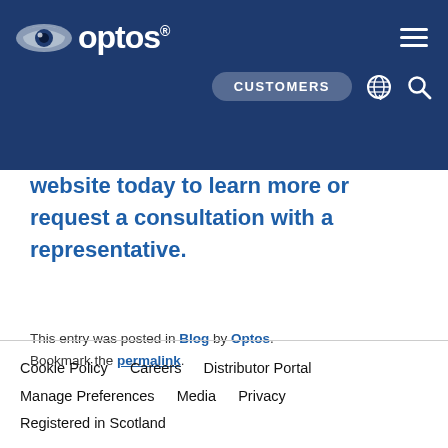[Figure (logo): Optos logo with eye icon and brand name in white on dark blue navigation bar, with hamburger menu, CUSTOMERS button, globe icon, and search icon]
technology provides practitioners ew of the retina than conventional equipment and images that are readily available for review with patients, so they can see exactly what you're seeing. Visit our website today to learn more or request a consultation with a representative.
This entry was posted in Blog by Optos. Bookmark the permalink.
Cookie Policy   Careers   Distributor Portal   Manage Preferences   Media   Privacy   Registered in Scotland